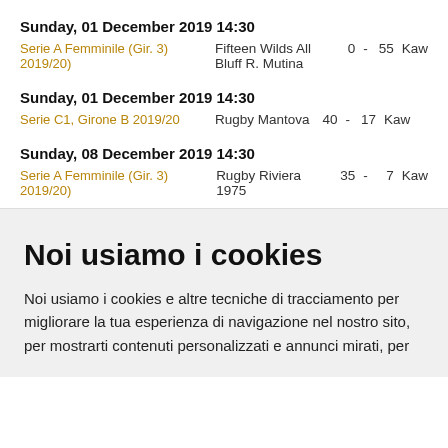Sunday, 01 December 2019 14:30
Serie A Femminile (Gir. 3) 2019/20   Fifteen Wilds All Bluff R. Mutina   0  -  55  Kaw
Sunday, 01 December 2019 14:30
Serie C1, Girone B 2019/20   Rugby Mantova   40  -  17  Kaw
Sunday, 08 December 2019 14:30
Serie A Femminile (Gir. 3) 2019/20   Rugby Riviera 1975   35  -  7  Kaw
Noi usiamo i cookies
Noi usiamo i cookies e altre tecniche di tracciamento per migliorare la tua esperienza di navigazione nel nostro sito, per mostrarti contenuti personalizzati e annunci mirati, per